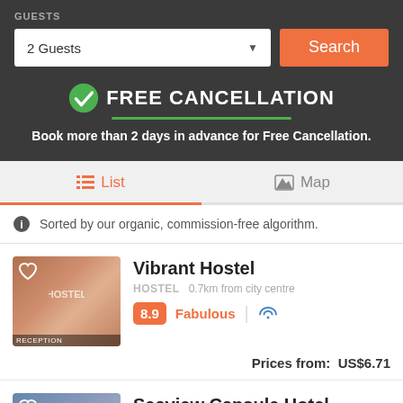GUESTS
2 Guests
Search
FREE CANCELLATION
Book more than 2 days in advance for Free Cancellation.
List
Map
Sorted by our organic, commission-free algorithm.
Vibrant Hostel
HOSTEL  0.7km from city centre
8.9  Fabulous
Prices from:  US$6.71
Seaview Capsule Hotel